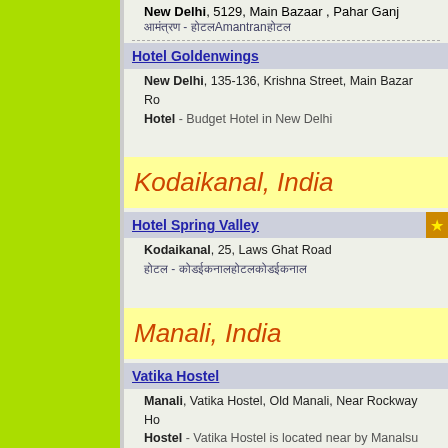New Delhi, 5129, Main Bazaar, Pahar Ganj
[unicode] - [unicode]Amantran[unicode]
Hotel Goldenwings
New Delhi, 135-136, Krishna Street, Main Bazar Ro...
Hotel - Budget Hotel in New Delhi
Kodaikanal, India
Hotel Spring Valley
Kodaikanal, 25, Laws Ghat Road
[unicode] - [unicode]
Manali, India
Vatika Hostel
Manali, Vatika Hostel, Old Manali, Near Rockway Ho...
Hostel - Vatika Hostel is located near by Manalsu river view
Heaven On Earth
Manali, Vill Nasogi Behind Dps School Nasogi Mana...
Hotel - Located in the hilly side of Manali, Heaven on E... to the Hadimba Devi Temple and also the Mall Road, m...